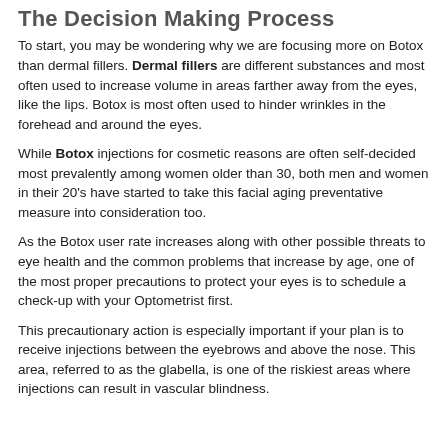The Decision Making Process
To start, you may be wondering why we are focusing more on Botox than dermal fillers. Dermal fillers are different substances and most often used to increase volume in areas farther away from the eyes, like the lips. Botox is most often used to hinder wrinkles in the forehead and around the eyes.
While Botox injections for cosmetic reasons are often self-decided most prevalently among women older than 30, both men and women in their 20's have started to take this facial aging preventative measure into consideration too.
As the Botox user rate increases along with other possible threats to eye health and the common problems that increase by age, one of the most proper precautions to protect your eyes is to schedule a check-up with your Optometrist first.
This precautionary action is especially important if your plan is to receive injections between the eyebrows and above the nose. This area, referred to as the glabella, is one of the riskiest areas where injections can result in vascular blindness.